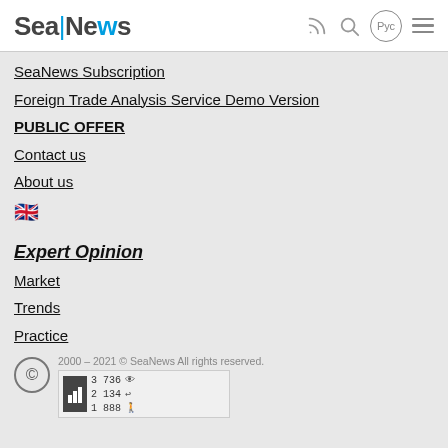SeaNews — navigation header with logo and icons
SeaNews Subscription
Foreign Trade Analysis Service Demo Version
PUBLIC OFFER
Contact us
About us
Expert Opinion
Market
Trends
Practice
2000 – 2021 © SeaNews All rights reserved.